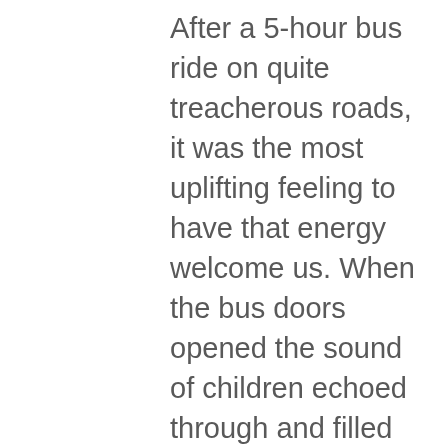After a 5-hour bus ride on quite treacherous roads, it was the most uplifting feeling to have that energy welcome us. When the bus doors opened the sound of children echoed through and filled my eyes with happy tears! When we exited the bus the kids were grabbing our hands and giving us hugs; It was quite literally one of the most happy moments of my entire life, not just of this trip. It pained me SO MUCH when we had to load onto the bus and head back. I could've stayed there for the entirety of the trip.